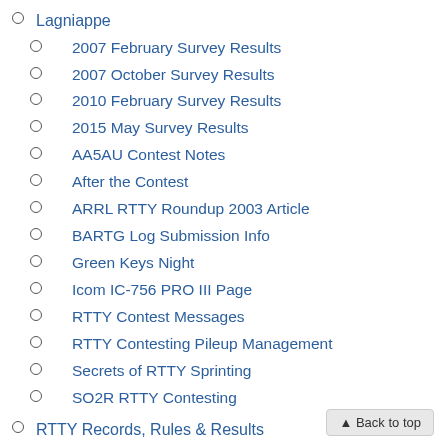Lagniappe
2007 February Survey Results
2007 October Survey Results
2010 February Survey Results
2015 May Survey Results
AA5AU Contest Notes
After the Contest
ARRL RTTY Roundup 2003 Article
BARTG Log Submission Info
Green Keys Night
Icom IC-756 PRO III Page
RTTY Contest Messages
RTTY Contesting Pileup Management
Secrets of RTTY Sprinting
SO2R RTTY Contesting
RTTY Records, Rules & Results
Ten-Meter RTTY Contest
FAQ
Plaques